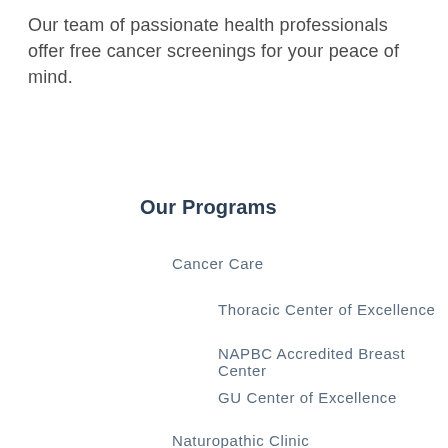Our team of passionate health professionals offer free cancer screenings for your peace of mind.
Our Programs
Cancer Care
Thoracic Center of Excellence
NAPBC Accredited Breast Center
GU Center of Excellence
Naturopathic Clinic
Our Approach